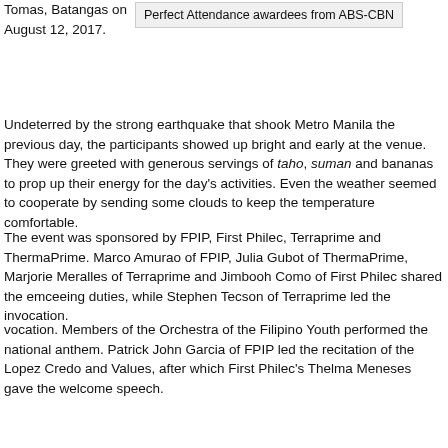Tomas, Batangas on August 12, 2017.
Perfect Attendance awardees from ABS-CBN
Undeterred by the strong earthquake that shook Metro Manila the previous day, the participants showed up bright and early at the venue. They were greeted with generous servings of taho, suman and bananas to prop up their energy for the day's activities. Even the weather seemed to cooperate by sending some clouds to keep the temperature comfortable.
The event was sponsored by FPIP, First Philec, Terraprime and ThermaPrime. Marco Amurao of FPIP, Julia Gubot of ThermaPrime, Marjorie Meralles of Terraprime and Jimbooh Como of First Philec shared the emceeing duties, while Stephen Tecson of Terraprime led the invocation.
vocation. Members of the Orchestra of the Filipino Youth performed the national anthem. Patrick John Garcia of FPIP led the recitation of the Lopez Credo and Values, after which First Philec's Thelma Meneses gave the welcome speech.
Everyone accorded a grand welcome to Lopez Holdings Corporation chairman Manuel M. Lopez who delivered an inspirational message.
Those who have joined previous WTT events in FPIP always say that they see or experience something new every time. On this walk, the sponsors allowed bicycle enthusiasts to join the fun—and this was well received and